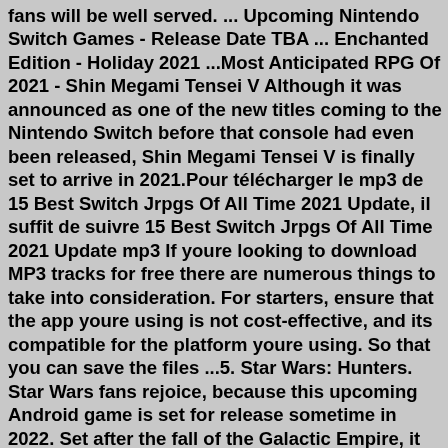fans will be well served. ... Upcoming Nintendo Switch Games - Release Date TBA ... Enchanted Edition - Holiday 2021 ...Most Anticipated RPG Of 2021 - Shin Megami Tensei V Although it was announced as one of the new titles coming to the Nintendo Switch before that console had even been released, Shin Megami Tensei V is finally set to arrive in 2021.Pour télécharger le mp3 de 15 Best Switch Jrpgs Of All Time 2021 Update, il suffit de suivre 15 Best Switch Jrpgs Of All Time 2021 Update mp3 If youre looking to download MP3 tracks for free there are numerous things to take into consideration. For starters, ensure that the app youre using is not cost-effective, and its compatible for the platform youre using. So that you can save the files ...5. Star Wars: Hunters. Star Wars fans rejoice, because this upcoming Android game is set for release sometime in 2022. Set after the fall of the Galactic Empire, it will feature an all-new cast of ...Robby's Adventure. Platform: Switch. August 30, 2022. Robby's Adventure is a side-scroller platformer